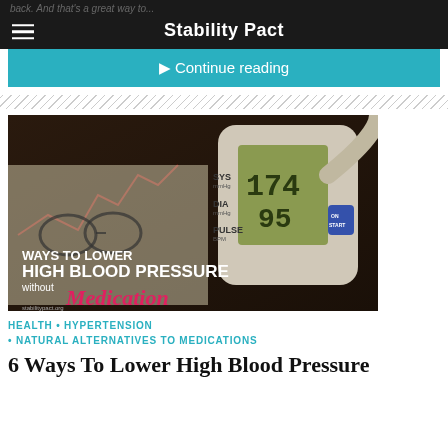Stability Pact
back. And that's a great way to...
▶ Continue reading
[Figure (photo): Blood pressure monitor showing readings of SYS 174 mmHg, DIA 95 mmHg, PULSE, with text overlay: WAYS TO LOWER HIGH BLOOD PRESSURE without Medication. stabilitypact.org]
HEALTH • HYPERTENSION • NATURAL ALTERNATIVES TO MEDICATIONS
6 Ways To Lower High Blood Pressure